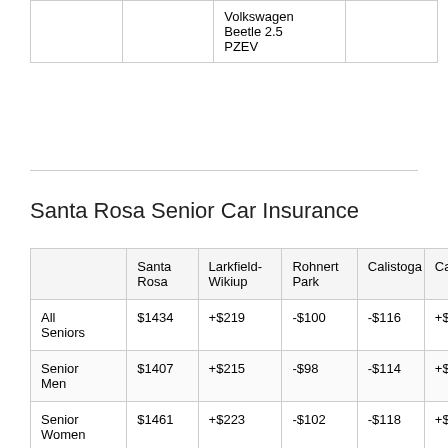|  |  | Volkswagen Beetle 2.5 PZEV |  |
| --- | --- | --- | --- |
|  |  | Volkswagen
Beetle 2.5
PZEV |  |
Santa Rosa Senior Car Insurance
|  | Santa Rosa | Larkfield-Wikiup | Rohnert Park | Calistoga | Ca… |
| --- | --- | --- | --- | --- | --- |
| All Seniors | $1434 | +$219 | -$100 | -$116 | +$… |
| Senior Men | $1407 | +$215 | -$98 | -$114 | +$… |
| Senior Women | $1461 | +$223 | -$102 | -$118 | +$… |